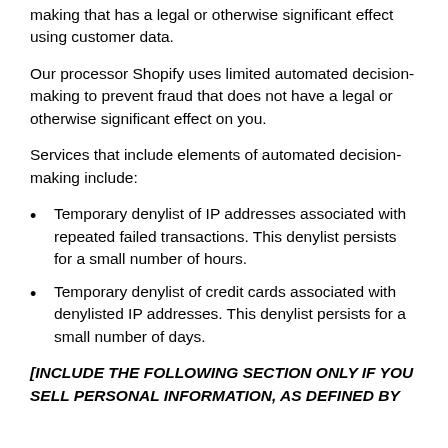making that has a legal or otherwise significant effect using customer data.
Our processor Shopify uses limited automated decision-making to prevent fraud that does not have a legal or otherwise significant effect on you.
Services that include elements of automated decision-making include:
Temporary denylist of IP addresses associated with repeated failed transactions. This denylist persists for a small number of hours.
Temporary denylist of credit cards associated with denylisted IP addresses. This denylist persists for a small number of days.
[INCLUDE THE FOLLOWING SECTION ONLY IF YOU SELL PERSONAL INFORMATION, AS DEFINED BY